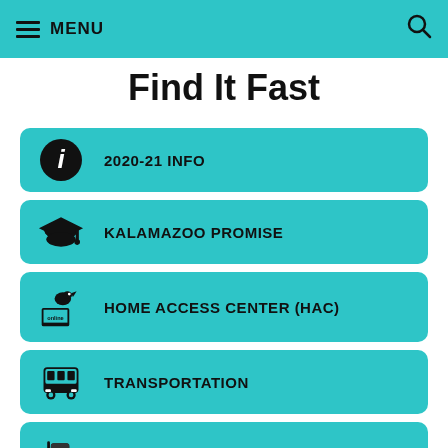MENU
Find It Fast
2020-21 INFO
KALAMAZOO PROMISE
HOME ACCESS CENTER (HAC)
TRANSPORTATION
MEALS AND NUTRITION